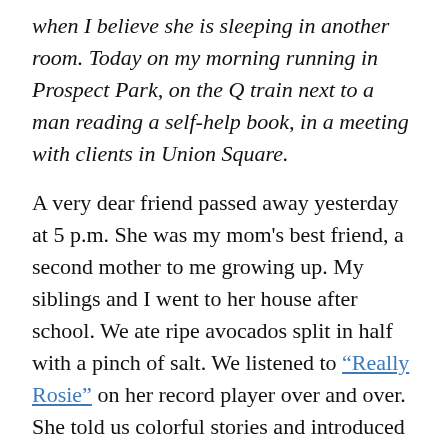when I believe she is sleeping in another room. Today on my morning running in Prospect Park, on the Q train next to a man reading a self-help book, in a meeting with clients in Union Square.
A very dear friend passed away yesterday at 5 p.m. She was my mom's best friend, a second mother to me growing up. My siblings and I went to her house after school. We ate ripe avocados split in half with a pinch of salt. We listened to “Really Rosie” on her record player over and over. She told us colorful stories and introduced us to obscure books. I love to read because of her. We went to her house on Shabbat and indulged in